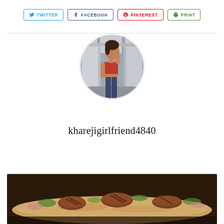[Figure (infographic): Social share buttons row: Twitter (blue border), Facebook (dark blue border), Pinterest (red border), Print (green border)]
[Figure (photo): Circular profile avatar photo of a woman in a red crop top with arm raised, industrial background]
kharejigirlfriend4840
[Figure (photo): Food photo at bottom showing flatbread with grilled meat and garnishes on a dark surface]